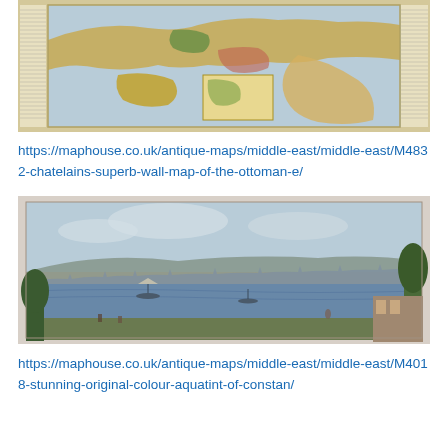[Figure (photo): Antique hand-coloured map of the Middle East and surrounding regions, panoramic horizontal format with decorative borders and text columns on the sides]
https://maphouse.co.uk/antique-maps/middle-east/middle-east/M4832-chatelains-superb-wall-map-of-the-ottoman-e/
[Figure (photo): Antique colour aquatint panoramic view of Constantinople (Istanbul), showing the city skyline across a wide bay with boats, trees in the foreground and mountains in the background]
https://maphouse.co.uk/antique-maps/middle-east/middle-east/M4018-stunning-original-colour-aquatint-of-constan/